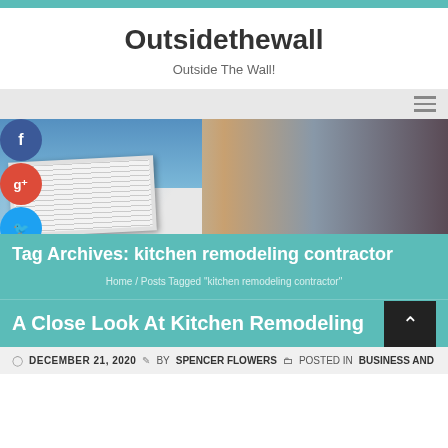Outsidethewall — Outside The Wall!
Outsidethewall
Outside The Wall!
[Figure (screenshot): Hero banner with three panels: open magazine/book on left, RTOHQ magazine cover in middle, and a Bienvenidos/Abierto storefront sign on right. RTOHQ The Magazine branding visible.]
Tag Archives: kitchen remodeling contractor
Home / Posts Tagged "kitchen remodeling contractor"
A Close Look At Kitchen Remodeling
DECEMBER 21, 2020  BY SPENCER FLOWERS  POSTED IN BUSINESS AND